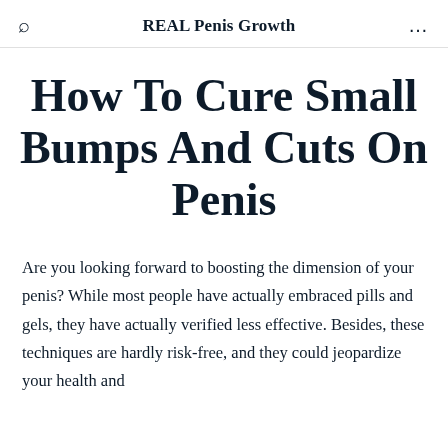Q   REAL Penis Growth   ...
How To Cure Small Bumps And Cuts On Penis
Are you looking forward to boosting the dimension of your penis? While most people have actually embraced pills and gels, they have actually verified less effective. Besides, these techniques are hardly risk-free, and they could jeopardize your health and